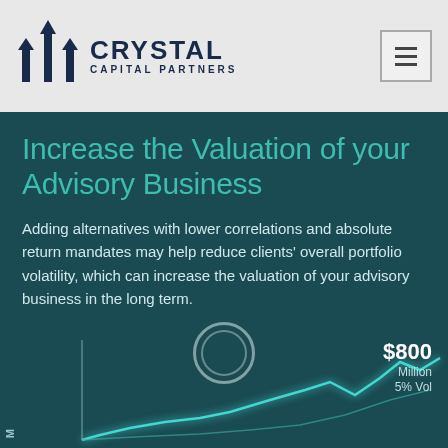[Figure (logo): Crystal Capital Partners logo with building icon and company name]
Increase the Valuation of your Advisory Business
Adding alternatives with lower correlations and absolute return mandates may help reduce clients' overall portfolio volatility, which can increase the valuation of your advisory business in the long term.
[Figure (line-chart): Partial line chart visible at bottom of page showing valuation growth, with annotation '$800 Million 5% Vol' and y-axis label 'M']